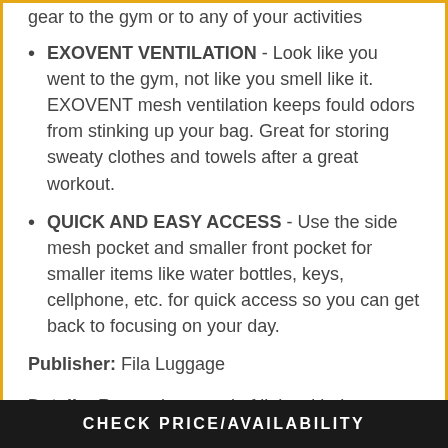gear to the gym or to any of your activities
EXOVENT VENTILATION – Look like you went to the gym, not like you smell like it. EXOVENT mesh ventilation keeps fould odors from stinking up your bag. Great for storing sweaty clothes and towels after a great workout.
QUICK AND EASY ACCESS – Use the side mesh pocket and smaller front pocket for smaller items like water bottles, keys, cellphone, etc. for quick access so you can get back to focusing on your day.
Publisher: Fila Luggage
Details: Run at the speed of light with the Speedlight medium gym duffel bag. Measuring 22" in width, this duffel bag is
CHECK PRICE/AVAILABILITY